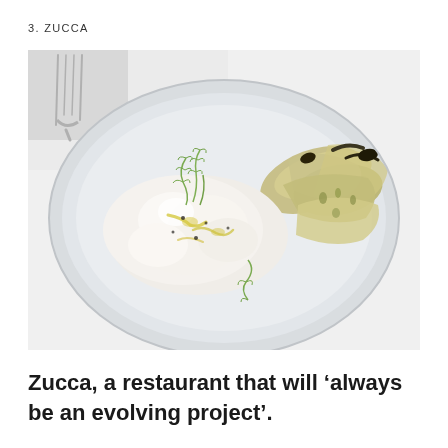3. ZUCCA
[Figure (photo): A white plate with burrata or fresh cheese topped with dill fronds and olive oil, alongside roasted artichoke hearts, with a silver fork visible in the upper left background on a white surface.]
Zucca, a restaurant that will ‘always be an evolving project’.